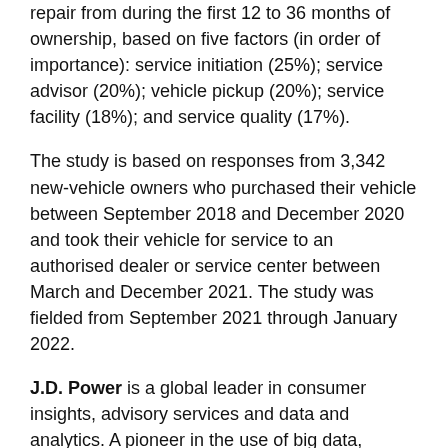repair from during the first 12 to 36 months of ownership, based on five factors (in order of importance): service initiation (25%); service advisor (20%); vehicle pickup (20%); service facility (18%); and service quality (17%).
The study is based on responses from 3,342 new-vehicle owners who purchased their vehicle between September 2018 and December 2020 and took their vehicle for service to an authorised dealer or service center between March and December 2021. The study was fielded from September 2021 through January 2022.
J.D. Power is a global leader in consumer insights, advisory services and data and analytics. A pioneer in the use of big data, artificial intelligence (AI) and algorithmic modeling capabilities to understand consumer behavior, J.D. Power has been delivering incisive industry intelligence on customer interactions with brands and products for more than 50 years. The world's leading